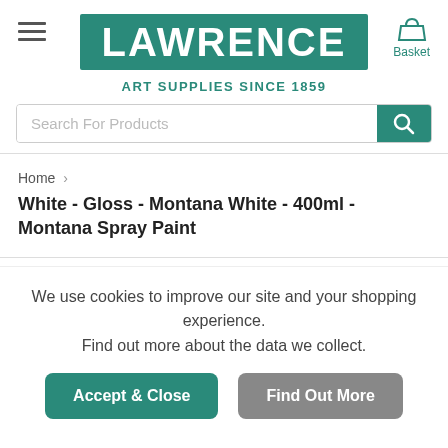[Figure (logo): Lawrence Art Supplies logo - white text LAWRENCE on teal/green background banner]
ART SUPPLIES SINCE 1859
Search For Products
Home > White - Gloss - Montana White - 400ml - Montana Spray Paint
We use cookies to improve our site and your shopping experience. Find out more about the data we collect.
Accept & Close
Find Out More